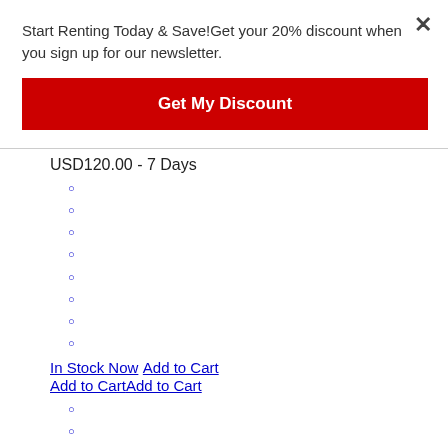Start Renting Today & Save!Get your 20% discount when you sign up for our newsletter.
Get My Discount
USD120.00 - 7 Days
○
○
○
○
○
○
○
○
In Stock Now Add to Cart Add to CartAdd to Cart
○
○
○
○
○
○